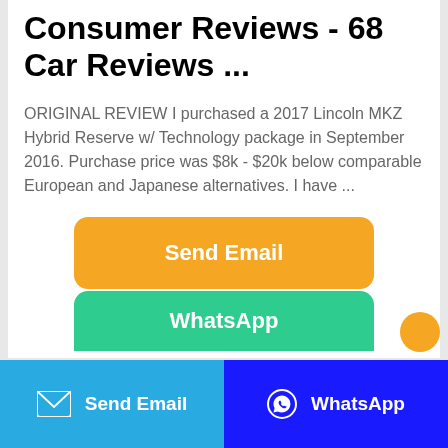Consumer Reviews - 68 Car Reviews ...
ORIGINAL REVIEW I purchased a 2017 Lincoln MKZ Hybrid Reserve w/ Technology package in September 2016. Purchase price was $8k - $20k below comparable European and Japanese alternatives. I have ...
[Figure (other): Orange 'Send Email' button]
[Figure (other): Green 'WhatsApp' button (partially visible)]
[Figure (other): Bottom navigation bar with 'Send Email' (blue) and 'WhatsApp' (dark blue) buttons]